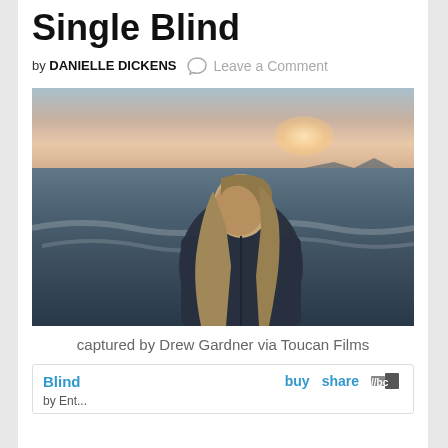Single Blind
by DANIELLE DICKENS  Leave a Comment
[Figure (photo): Young woman with long blonde hair wearing a denim jacket, standing at a beach with sunset sky and ocean waves in the background. She is looking back over her shoulder toward the camera.]
captured by Drew Gardner via Toucan Films
Blind  buy  share  bc